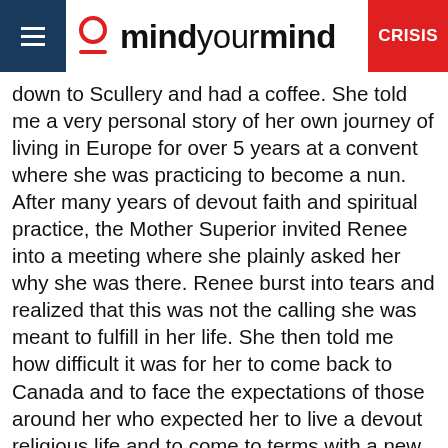mindyourmind CRISIS
down to Scullery and had a coffee. She told me a very personal story of her own journey of living in Europe for over 5 years at a convent where she was practicing to become a nun. After many years of devout faith and spiritual practice, the Mother Superior invited Renee into a meeting where she plainly asked her why she was there. Renee burst into tears and realized that this was not the calling she was meant to fulfill in her life. She then told me how difficult it was for her to come back to Canada and to face the expectations of those around her who expected her to live a devout religious life and to come to terms with a new direction. She said, "you have to meet people where they are at". And, I never